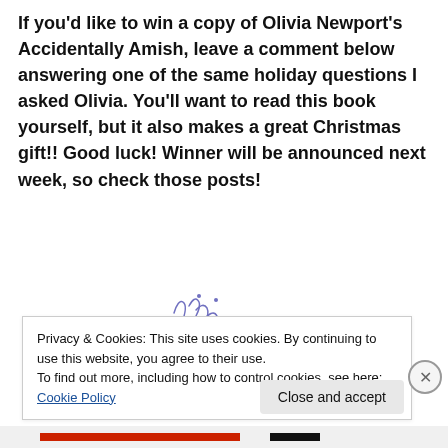If you'd like to win a copy of Olivia Newport's Accidentally Amish, leave a comment below answering one of the same holiday questions I asked Olivia. You'll want to read this book yourself, but it also makes a great Christmas gift!! Good luck! Winner will be announced next week, so check those posts!
[Figure (illustration): Handwritten cursive signature reading 'Jennifer']
Privacy & Cookies: This site uses cookies. By continuing to use this website, you agree to their use. To find out more, including how to control cookies, see here: Cookie Policy